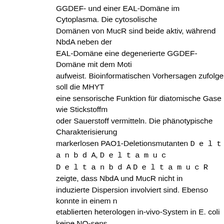GGDEF- und einer EAL-Domäne im Cytoplasma. Die cytosolis Domänen von MucR sind beide aktiv, während NbdA neben der EAL-Domäne eine degenerierte GGDEF-Domäne mit dem Moti aufweist. Bioinformatischen Vorhersagen zufolge soll die MHYT eine sensorische Funktion für diatomische Gase wie Stickstoffm oder Sauerstoff vermitteln. Die phänotypische Charakterisierun markerlosen PAO1-Deletionsmutanten DeltanbdA, Deltamu DeltanbdA DeltamucR zeigte, dass NbdA und MucR nicht in induzierte Dispersion involviert sind. Ebenso konnte in einem n etablierten heterologen in-vivo-System in E. coli keine NO-sens Funktion der Proteine detektiert werden. Im Weiteren wurde fes dass die MHYT-Domäne keinen ersichtlichen Einfluss auf die Enzymaktivität von NbdA und MucR unter aeroben Bedingunge Demzufolge fungiert die Membrandomäne vermutlich weder als Sauerstoff, noch für NO. Anhand heterologer Komplemantations konnte eine PDE-Aktivität des NbdA-Volllängenproteins nachge werden. Zudem wurde gezeigt, dass die degenerierte AGDEF-D einen regulatorischen Effekt auf die EAL-Domäne hat, der esse in- vivo-Aktivität von NbdA ist. In-vivo-Untersuchungen bestätig postulierte DGC-Aktivität von MucR. Weiterhin konnte belegt we MucR ein bifunktionelles Enzym ist. Entgegen den Erwartungen jedoch im Planktonischen als DGC und im Biofilm als PDE zu f